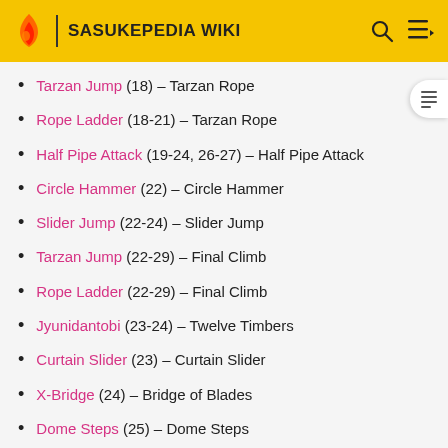SASUKEPEDIA WIKI
Tarzan Jump (18) - Tarzan Rope
Rope Ladder (18-21) - Tarzan Rope
Half Pipe Attack (19-24, 26-27) - Half Pipe Attack
Circle Hammer (22) - Circle Hammer
Slider Jump (22-24) - Slider Jump
Tarzan Jump (22-29) - Final Climb
Rope Ladder (22-29) - Final Climb
Jyunidantobi (23-24) - Twelve Timbers
Curtain Slider (23) - Curtain Slider
X-Bridge (24) - Bridge of Blades
Dome Steps (25) - Dome Steps
Bridge Jump (25) - Bridge Jump
Step Slider (26-27) - Step Slider
Hazard Swing (26) - Hazard Swing